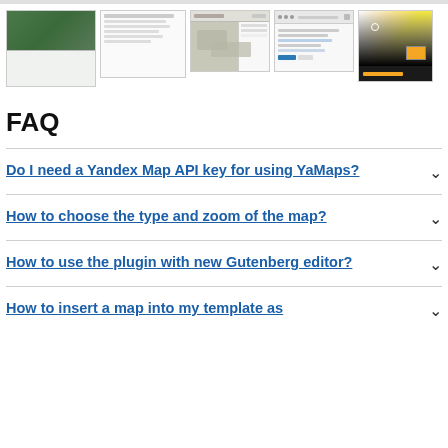[Figure (screenshot): Row of 5 screenshots showing YaMaps WordPress plugin interfaces: map backend settings, text editor, map display, icon editor dialog, and color picker]
FAQ
Do I need a Yandex Map API key for using YaMaps?
How to choose the type and zoom of the map?
How to use the plugin with new Gutenberg editor?
How to insert a map into my template as